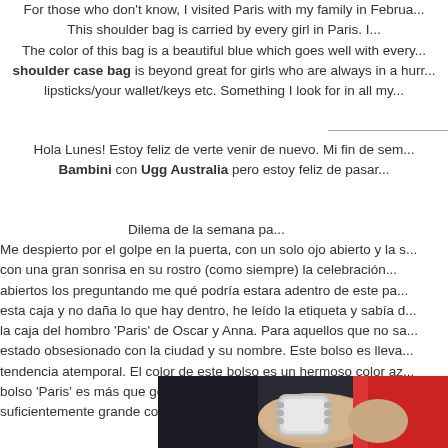For those who don't know, I visited Paris with my family in February. This shoulder bag is carried by every girl in Paris. The color of this bag is a beautiful blue which goes well with every shoulder case bag is beyond great for girls who are always in a hurry lipsticks/your wallet/keys etc. Something I look for in all my
Hola Lunes! Estoy feliz de verte venir de nuevo. Mi fin de semana Bambini con Ugg Australia pero estoy feliz de pasar
Dilema de la semana pa Me despierto por el golpe en la puerta, con un solo ojo abierto y la s con una gran sonrisa en su rostro (como siempre) la celebracion abiertos los preguntando me que podria estara adentro de este pa esta caja y no daña lo que hay dentro, he leido la etiqueta y sabia la caja del hombro 'Paris' de Oscar y Anna. Para aquellos que no sa estado obsesionado con la ciudad y su nombre. Este bolso es lleva tendencia atemporal. El color de este bolso es un hermoso color az bolso 'Paris' es mas que genial para las chicas que siempre suficientemente grande como para llevar todo lo que neces
[Figure (photo): Close-up photo of a person's wrist wearing a silver watch, with a red sleeve visible, against a dark background]